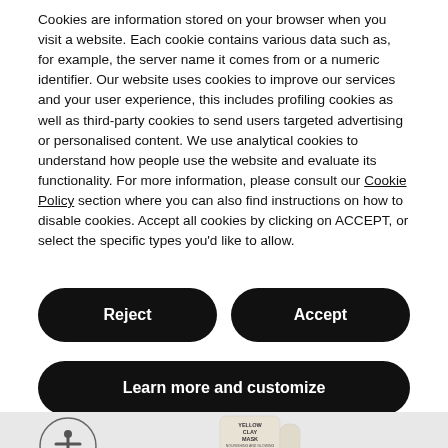Cookies are information stored on your browser when you visit a website. Each cookie contains various data such as, for example, the server name it comes from or a numeric identifier. Our website uses cookies to improve our services and your user experience, this includes profiling cookies as well as third-party cookies to send users targeted advertising or personalised content. We use analytical cookies to understand how people use the website and evaluate its functionality. For more information, please consult our Cookie Policy section where you can also find instructions on how to disable cookies. Accept all cookies by clicking on ACCEPT, or select the specific types you'd like to allow.
Reject
Accept
Learn more and customize
[Figure (other): Accessibility icon (circular button with person symbol) and a Yellow Clay Mask product tube image in the bottom section of the page]